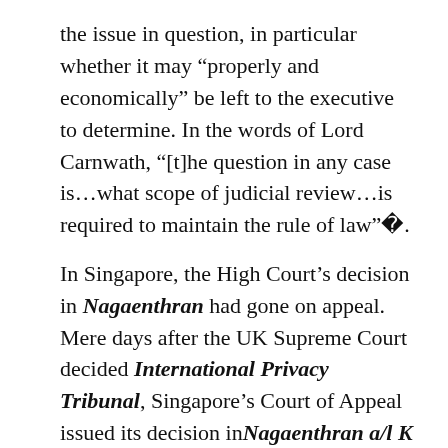the issue in question, in particular whether it may “properly and economically” be left to the executive to determine. In the words of Lord Carnwath, “[t]he question in any case is…what scope of judicial review…is required to maintain the rule of law”�.
In Singapore, the High Court’s decision in Nagaenthran had gone on appeal. Mere days after the UK Supreme Court decided International Privacy Tribunal, Singapore’s Court of Appeal issued its decision in Nagaenthran a/l K Dharmalingam v Attorney-General